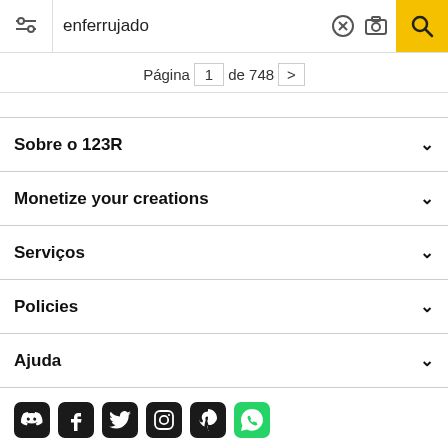enferrujado
Página 1 de 748 >
Sobre o 123R
Monetize your creations
Serviços
Policies
Ajuda
[Figure (infographic): Social media icons: Discord, Facebook, Twitter, Instagram, Pinterest, WhatsApp]
Todos os direitos reservados. © Inmagine Lab Pte Ltd 2022.